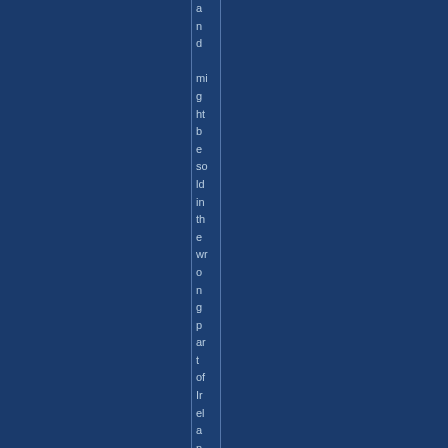and might be sold in the wrong part of Ireland? Russia